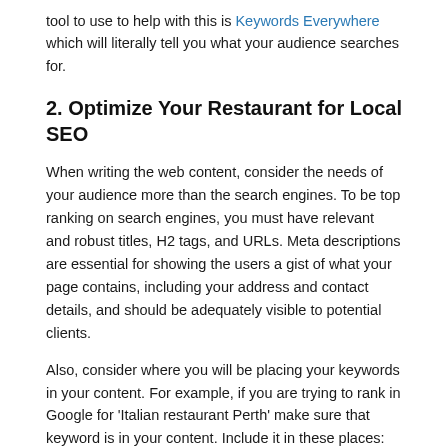tool to use to help with this is Keywords Everywhere which will literally tell you what your audience searches for.
2. Optimize Your Restaurant for Local SEO
When writing the web content, consider the needs of your audience more than the search engines. To be top ranking on search engines, you must have relevant and robust titles, H2 tags, and URLs. Meta descriptions are essential for showing the users a gist of what your page contains, including your address and contact details, and should be adequately visible to potential clients.
Also, consider where you will be placing your keywords in your content. For example, if you are trying to rank in Google for 'Italian restaurant Perth' make sure that keyword is in your content. Include it in these places: